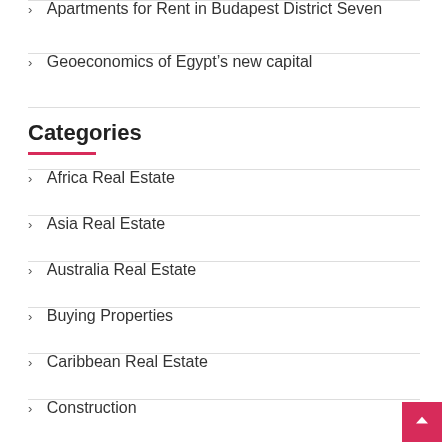Apartments for Rent in Budapest District Seven
Geoeconomics of Egypt's new capital
Categories
Africa Real Estate
Asia Real Estate
Australia Real Estate
Buying Properties
Caribbean Real Estate
Construction
Europe Real Estate